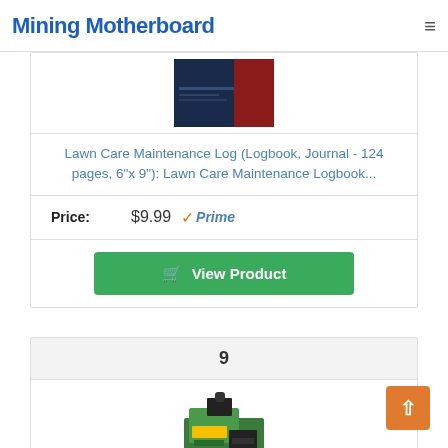Mining Motherboard
[Figure (photo): Book cover image partially visible at top of card — dark navy and red cover]
Lawn Care Maintenance Log (Logbook, Journal - 124 pages, 6"x 9"): Lawn Care Maintenance Logbook...
Price: $9.99 ✓Prime
View Product
9
[Figure (photo): Product image of John Deere equipment/kit partially visible at bottom]